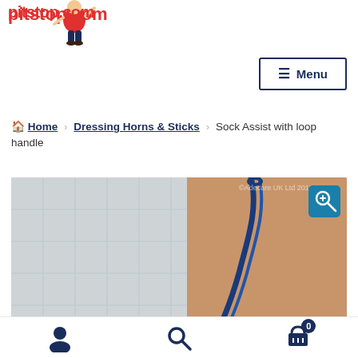mobilingpitstop.com
Menu
Home › Dressing Horns & Sticks › Sock Assist with loop handle
[Figure (photo): Product photo of a Sock Assist with loop handle, showing a blue rope/cord loop being held by a hand, with a window/grid background. A teal zoom icon is in the top-right corner.]
User icon | Search icon | Cart icon with badge 0